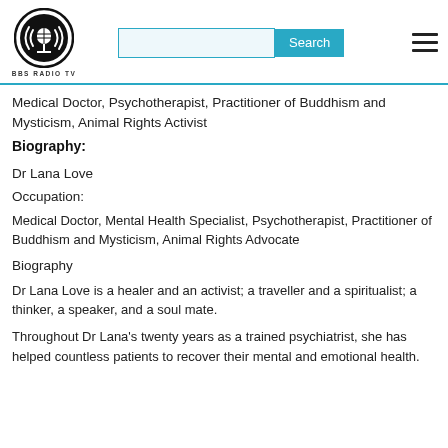BBS RADIO TV [logo] [search bar] [hamburger menu]
Medical Doctor, Psychotherapist, Practitioner of Buddhism and Mysticism, Animal Rights Activist
Biography:
Dr Lana Love
Occupation:
Medical Doctor, Mental Health Specialist, Psychotherapist, Practitioner of Buddhism and Mysticism, Animal Rights Advocate
Biography
Dr Lana Love is a healer and an activist; a traveller and a spiritualist; a thinker, a speaker, and a soul mate.
Throughout Dr Lana's twenty years as a trained psychiatrist, she has helped countless patients to recover their mental and emotional health.